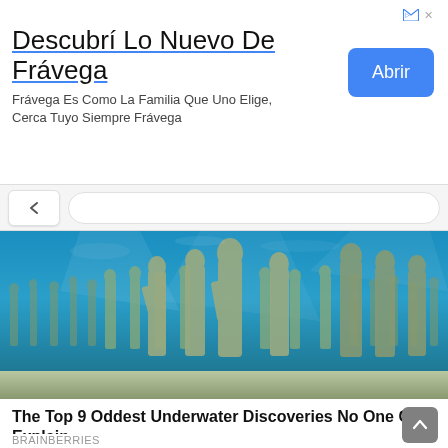[Figure (infographic): Advertisement banner for Frávega with title, subtitle text, and blue 'Abrir' button]
Descubrí Lo Nuevo De Frávega
Frávega Es Como La Familia Que Uno Elige, Cerca Tuyo Siempre Frávega
[Figure (photo): Underwater photograph showing many human-like statues submerged on the ocean floor, covered in algae, with blue water background]
The Top 9 Oddest Underwater Discoveries No One Can Explain
BRAINBERRIES